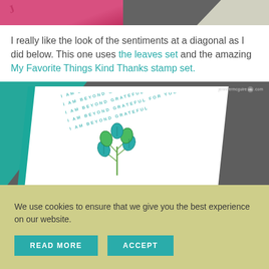[Figure (photo): Top portion showing two images side by side: left is a pink/rose colored paper item, right is a dark gray background]
I really like the look of the sentiments at a diagonal as I did below. This one uses the leaves set and the amazing My Favorite Things Kind Thanks stamp set.
[Figure (photo): A greeting card with a leaf stamp and diagonal repeated text 'I AM BEYOND GRATEFUL FOR YOU' in teal, placed on teal and dark gray backgrounds. Website watermark jennifermcguire(nb).com visible.]
We use cookies to ensure that we give you the best experience on our website.